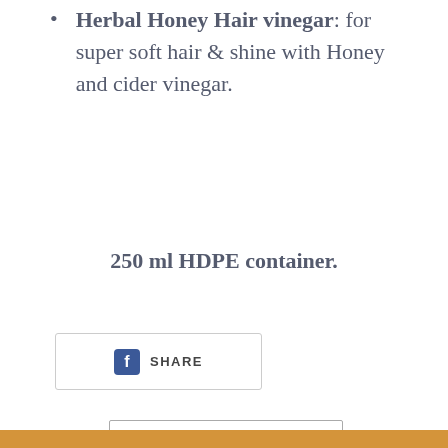Herbal Honey Hair vinegar: for super soft hair & shine with Honey and cider vinegar.
250 ml HDPE container.
[Figure (other): Facebook Share button with 'f' logo icon and SHARE label]
[Figure (other): Back to Hair Care navigation button with left arrow]